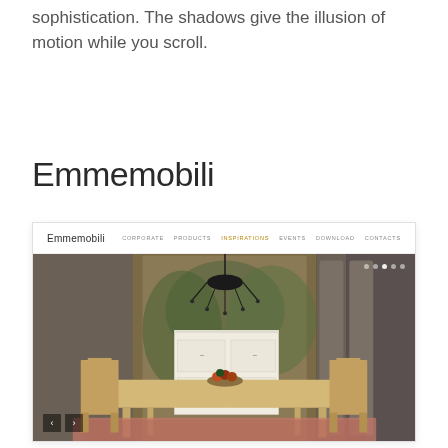sophistication. The shadows give the illusion of motion while you scroll.
Emmemobili
[Figure (screenshot): Screenshot of the Emmemobili website showing a navigation bar with links (CORPORATE, PRODUCTS, INSPIRATIONS, EVENTS, DOWNLOAD, CONTACTS) and a hero image of an elegant dining room with a chandelier, long dining table, chairs, and ornate tapestry background.]